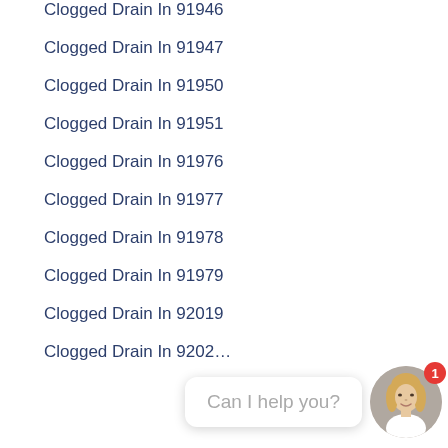Clogged Drain In 91946
Clogged Drain In 91947
Clogged Drain In 91950
Clogged Drain In 91951
Clogged Drain In 91976
Clogged Drain In 91977
Clogged Drain In 91978
Clogged Drain In 91979
Clogged Drain In 92019
Clogged Drain In 9202…
[Figure (other): Live chat widget with female avatar photo, red badge showing '1', and speech bubble saying 'Can I help you?']